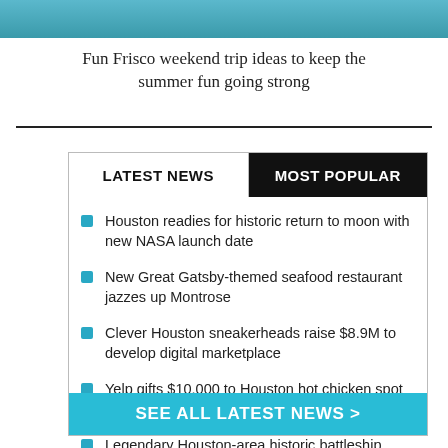[Figure (photo): Partial photo of a pool or water scene, cropped at top]
Fun Frisco weekend trip ideas to keep the summer fun going strong
Houston readies for historic return to moon with new NASA launch date
New Great Gatsby-themed seafood restaurant jazzes up Montrose
Clever Houston sneakerheads raise $8.9M to develop digital marketplace
Yelp gifts $10,000 to Houston hot chicken spot amid $100k Texas grants
Legendary Houston-area historic battleship casts off for repairs
SEE ALL LATEST NEWS >